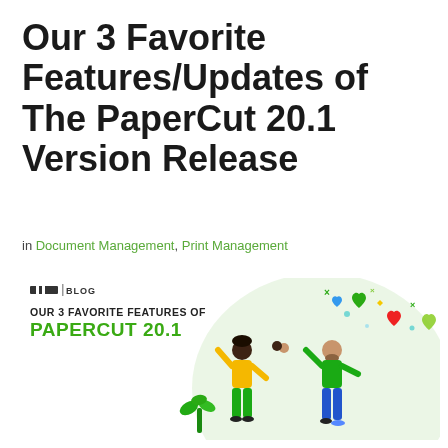Our 3 Favorite Features/Updates of The PaperCut 20.1 Version Release
in Document Management, Print Management
[Figure (illustration): ACDI Blog banner image showing two illustrated people giving a high five with colorful hearts and confetti floating above them. Text reads 'OUR 3 FAVORITE FEATURES OF PAPERCUT 20.1' with a green plant in the foreground and a light green circular background.]